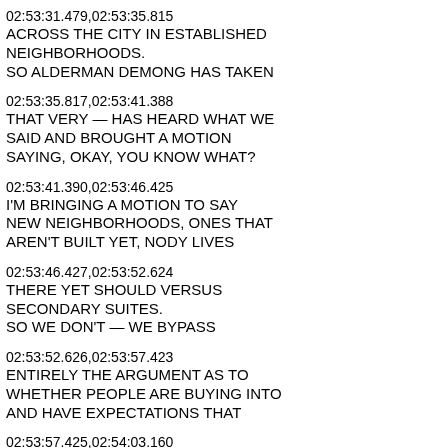02:53:31.479,02:53:35.815
ACROSS THE CITY IN ESTABLISHED
NEIGHBORHOODS.
SO ALDERMAN DEMONG HAS TAKEN
02:53:35.817,02:53:41.388
THAT VERY — HAS HEARD WHAT WE
SAID AND BROUGHT A MOTION
SAYING, OKAY, YOU KNOW WHAT?
02:53:41.390,02:53:46.425
I'M BRINGING A MOTION TO SAY
NEW NEIGHBORHOODS, ONES THAT
AREN'T BUILT YET, NODY LIVES
02:53:46.427,02:53:52.624
THERE YET SHOULD VERSUS
SECONDARY SUITES.
SO WE DON'T — WE BYPASS
02:53:52.626,02:53:57.423
ENTIRELY THE ARGUMENT AS TO
WHETHER PEOPLE ARE BUYING INTO
AND HAVE EXPECTATIONS THAT
02:53:57.425,02:54:03.160
THEY'RE GOING TO LIVE IN QUOTE
AN AUTHENTIC PURPOSE AND WHY